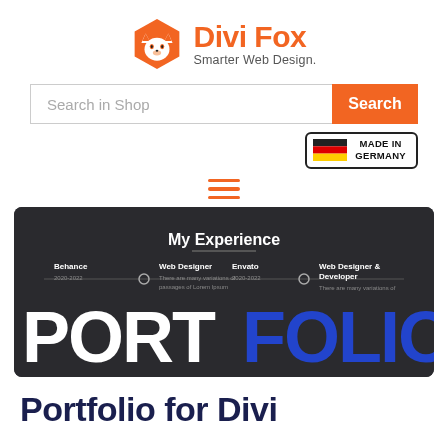[Figure (logo): Divi Fox logo with orange hexagon fox icon and text 'Divi Fox / Smarter Web Design.']
[Figure (screenshot): Search bar with 'Search in Shop' placeholder and orange 'Search' button, with 'Made in Germany' badge]
[Figure (screenshot): Dark portfolio website screenshot showing 'My Experience' section with timeline and large 'PORTFOLIO' text in white and blue]
Portfolio for Divi